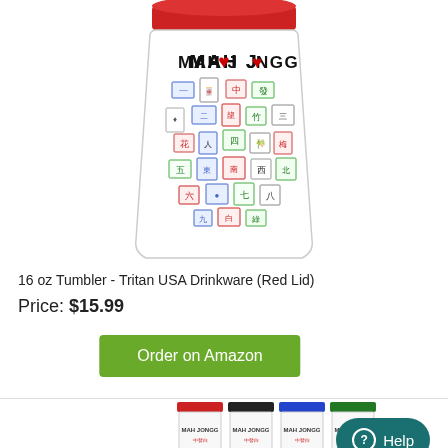[Figure (photo): A clear tumbler with a red lid decorated with mahjong tile patterns and 'MAH JONGG' text, shown from above/front angle on white background.]
16 oz Tumbler - Tritan USA Drinkware (Red Lid)
Price: $15.99
Order on Amazon
[Figure (photo): Four tumblers side by side with different colored lids: red, black, blue, and green, each decorated with mahjong tile patterns and 'MAH JONGG' text, partially visible at bottom of page.]